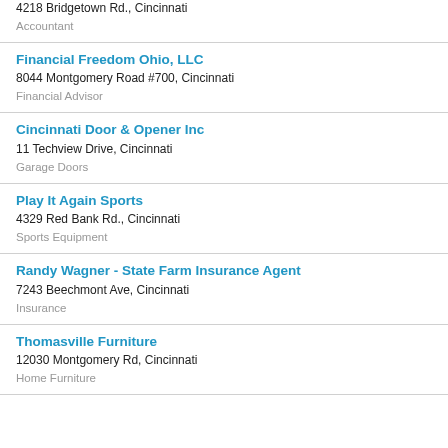4218 Bridgetown Rd., Cincinnati
Accountant
Financial Freedom Ohio, LLC
8044 Montgomery Road #700, Cincinnati
Financial Advisor
Cincinnati Door & Opener Inc
11 Techview Drive, Cincinnati
Garage Doors
Play It Again Sports
4329 Red Bank Rd., Cincinnati
Sports Equipment
Randy Wagner - State Farm Insurance Agent
7243 Beechmont Ave, Cincinnati
Insurance
Thomasville Furniture
12030 Montgomery Rd, Cincinnati
Home Furniture